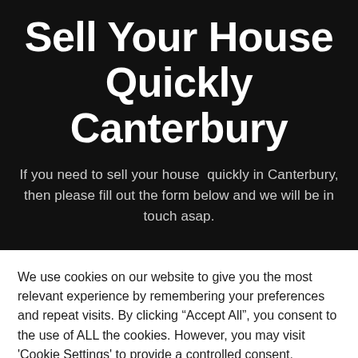Sell Your House Quickly Canterbury
If you need to sell your house quickly in Canterbury, then please fill out the form below and we will be in touch asap.
We use cookies on our website to give you the most relevant experience by remembering your preferences and repeat visits. By clicking “Accept All”, you consent to the use of ALL the cookies. However, you may visit 'Cookie Settings' to provide a controlled consent.
Cookie Settings | Accept All